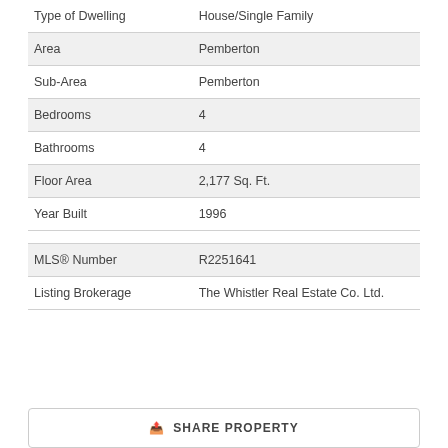| Field | Value |
| --- | --- |
| Type of Dwelling | House/Single Family |
| Area | Pemberton |
| Sub-Area | Pemberton |
| Bedrooms | 4 |
| Bathrooms | 4 |
| Floor Area | 2,177 Sq. Ft. |
| Year Built | 1996 |
| MLS® Number | R2251641 |
| Listing Brokerage | The Whistler Real Estate Co. Ltd. |
SHARE PROPERTY